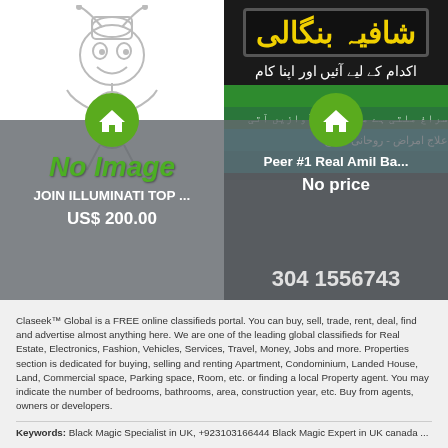[Figure (screenshot): Left listing card: no-image placeholder with ant mascot illustration, green house icon, 'No Image' text in green italic, listing title 'JOIN ILLUMINATI TOP ...' and price 'US$ 200.00' on gray overlay]
[Figure (photo): Right listing card: photo of Urdu signboard with yellow Arabic/Urdu text on black background, teal and green strips, phone number 304 1556743, listing title 'Peer #1 Real Amil Ba...' and 'No price' on gray overlay]
Claseek™ Global is a FREE online classifieds portal. You can buy, sell, trade, rent, deal, find and advertise almost anything here. We are one of the leading global classifieds for Real Estate, Electronics, Fashion, Vehicles, Services, Travel, Money, Jobs and more. Properties section is dedicated for buying, selling and renting Apartment, Condominium, Landed House, Land, Commercial space, Parking space, Room, etc. or finding a local Property agent. You may indicate the number of bedrooms, bathrooms, area, construction year, etc. Buy from agents, owners or developers.
Keywords: Black Magic Specialist in UK, +923103166444 Black Magic Expert in UK canada ...